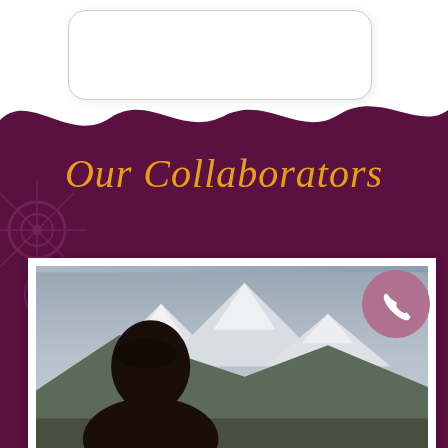[Figure (illustration): Rounded rectangle white box at the top of the page on a white background, resembling a card or input field placeholder.]
Our Collaborators
[Figure (photo): Photo of a woman with dark hair outdoors, with snow-capped mountains and cloudy sky in the background. A pink/mauve circular phone icon overlays the top-right corner of the photo.]